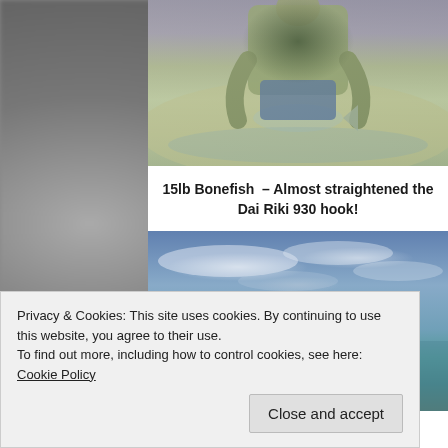[Figure (photo): Person bending down releasing or holding a large bonefish on a sandy flat with shallow water, purple/cloudy sky in background]
15lb Bonefish  – Almost straightened the Dai Riki 930 hook!
[Figure (photo): Fisherman wearing hat and sunglasses looking up at camera against blue sky with clouds and turquoise water in background]
Privacy & Cookies: This site uses cookies. By continuing to use this website, you agree to their use.
To find out more, including how to control cookies, see here: Cookie Policy
Close and accept